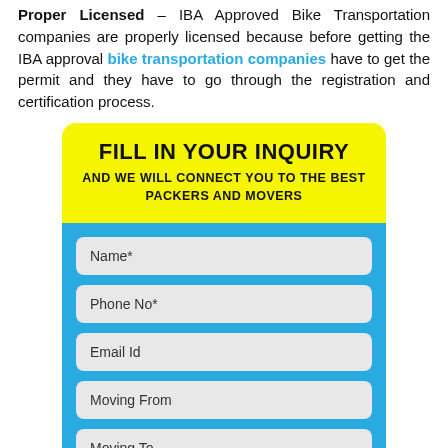Proper Licensed – IBA Approved Bike Transportation companies are properly licensed because before getting the IBA approval bike transportation companies have to get the permit and they have to go through the registration and certification process.
FILL IN YOUR INQUIRY
AND WE WILL CONNECT YOU TO THE BEST PACKERS AND MOVERS
[Figure (infographic): A contact form with fields: Name*, Phone No*, Email Id, Moving From, Moving To, and a 'Want to Shift?' label at the bottom, displayed on a blue background.]